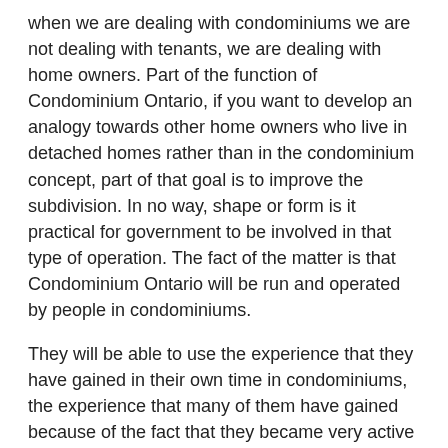when we are dealing with condominiums we are not dealing with tenants, we are dealing with home owners. Part of the function of Condominium Ontario, if you want to develop an analogy towards other home owners who live in detached homes rather than in the condominium concept, part of that goal is to improve the subdivision. In no way, shape or form is it practical for government to be involved in that type of operation. The fact of the matter is that Condominium Ontario will be run and operated by people in condominiums.
They will be able to use the experience that they have gained in their own time in condominiums, the experience that many of them have gained because of the fact that they became very active in the government or the board of directors in their own corporation. They will be able to pass that on to people coming in and buying a condominium and going through the registration phase where they become a corporation. I think quite frankly this